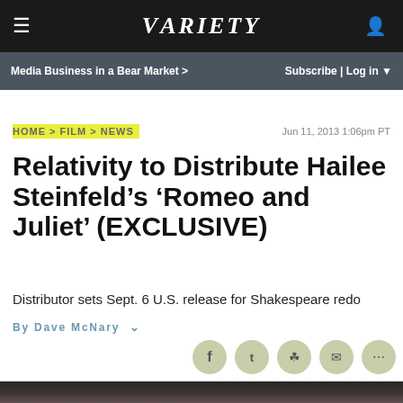VARIETY
Media Business in a Bear Market > | Subscribe | Log in
HOME > FILM > NEWS
Jun 11, 2013 1:06pm PT
Relativity to Distribute Hailee Steinfeld’s ‘Romeo and Juliet’ (EXCLUSIVE)
Distributor sets Sept. 6 U.S. release for Shakespeare redo
By Dave McNary
[Figure (photo): Bottom portion of a photo showing a person, partially visible at the bottom of the page]